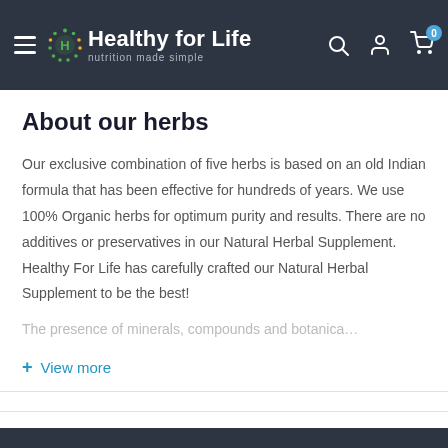Healthy for Life — nutrition made simple
About our herbs
Our exclusive combination of five herbs is based on an old Indian formula that has been effective for hundreds of years. We use 100% Organic herbs for optimum purity and results. There are no additives or preservatives in our Natural Herbal Supplement. Healthy For Life has carefully crafted our Natural Herbal Supplement to be the best!
The presence of minerals, compounds and botanica... [faded]
+ View more